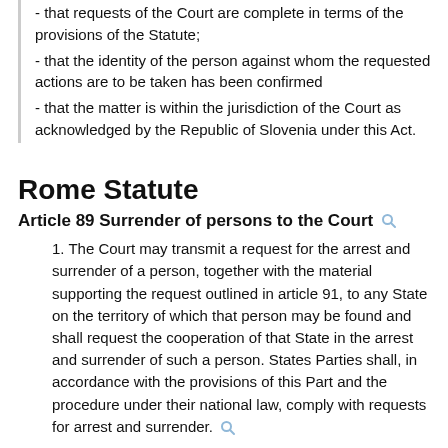- that requests of the Court are complete in terms of the provisions of the Statute;
- that the identity of the person against whom the requested actions are to be taken has been confirmed
- that the matter is within the jurisdiction of the Court as acknowledged by the Republic of Slovenia under this Act.
Rome Statute
Article 89 Surrender of persons to the Court
1. The Court may transmit a request for the arrest and surrender of a person, together with the material supporting the request outlined in article 91, to any State on the territory of which that person may be found and shall request the cooperation of that State in the arrest and surrender of such a person. States Parties shall, in accordance with the provisions of this Part and the procedure under their national law, comply with requests for arrest and surrender.